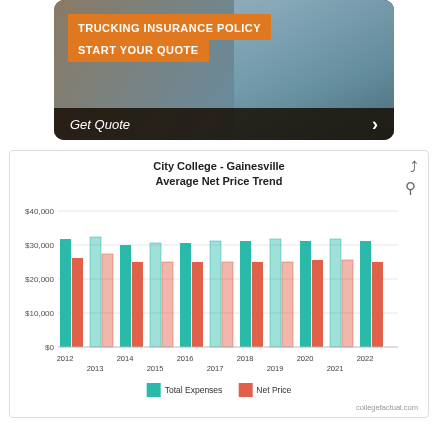[Figure (infographic): Trucking Insurance Policy advertisement banner with orange text bars reading 'TRUCKING INSURANCE POLICY' and 'START YOUR QUOTE', dark bottom bar with 'Get Quote' and arrow, person smiling in background]
[Figure (grouped-bar-chart): City College - Gainesville Average Net Price Trend]